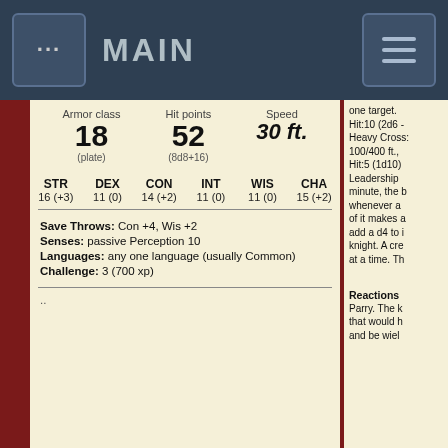MAIN
| Armor class | Hit points | Speed |
| --- | --- | --- |
| 18 | 52 | 30 ft. |
| (plate) | (8d8+16) |  |
| STR | DEX | CON | INT | WIS | CHA |
| --- | --- | --- | --- | --- | --- |
| 16 (+3) | 11 (0) | 14 (+2) | 11 (0) | 11 (0) | 15 (+2) |
Save Throws: Con +4, Wis +2
Senses: passive Perception 10
Languages: any one language (usually Common)
Challenge: 3 (700 xp)
..
one target. Hit:10 (2d6 - Heavy Cross: 100/400 ft., Hit:5 (1d10) Leadership minute, the b whenever a of it makes a add a d4 to i knight. A cre at a time. Th Reactions Parry. The k that would h and be wiel